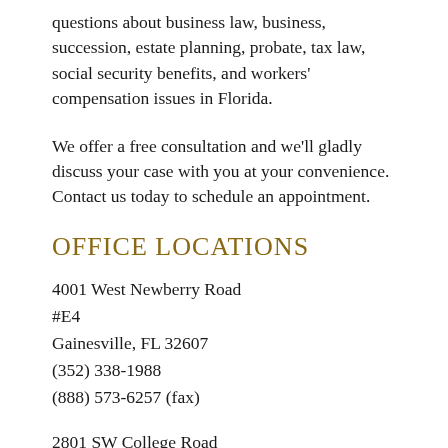questions about business law, business, succession, estate planning, probate, tax law, social security benefits, and workers' compensation issues in Florida.
We offer a free consultation and we'll gladly discuss your case with you at your convenience. Contact us today to schedule an appointment.
OFFICE LOCATIONS
4001 West Newberry Road
#E4
Gainesville, FL 32607
(352) 338-1988
(888) 573-6257 (fax)
2801 SW College Road
Suite I
Ocala, FL 34474